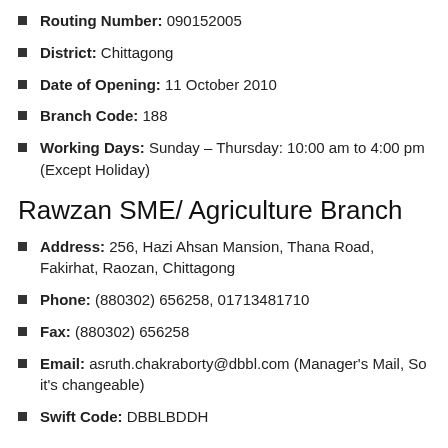Routing Number: 090152005
District: Chittagong
Date of Opening: 11 October 2010
Branch Code: 188
Working Days: Sunday – Thursday: 10:00 am to 4:00 pm (Except Holiday)
Rawzan SME/ Agriculture Branch
Address: 256, Hazi Ahsan Mansion, Thana Road, Fakirhat, Raozan, Chittagong
Phone: (880302) 656258, 01713481710
Fax: (880302) 656258
Email: asruth.chakraborty@dbbl.com (Manager's Mail, So it's changeable)
Swift Code: DBBLBDDH